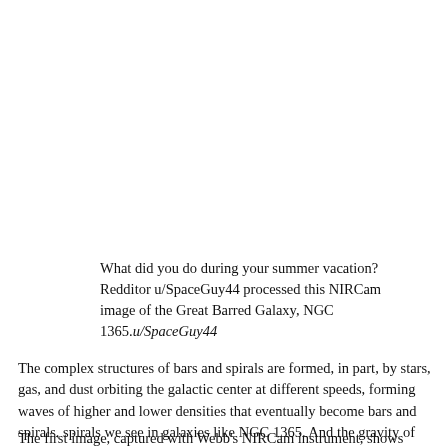What did you do during your summer vacation? Redditor u/SpaceGuy44 processed this NIRCam image of the Great Barred Galaxy, NGC 1365.u/SpaceGuy44
The complex structures of bars and spirals are formed, in part, by stars, gas, and dust orbiting the galactic center at different speeds, forming waves of higher and lower densities that eventually become bars and spirals. spirals we see in galaxies like NGC 1365. And the gravity of NGC 1365's bars can help pull matter toward the center of the galaxy, fueling the formation of new stars and feeding the ever-hungry black hole at its heart.
The first image, captured with Webb's NIRCam instrument, shows